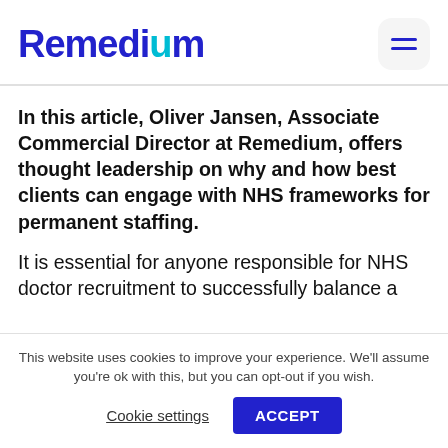Remedium
In this article, Oliver Jansen, Associate Commercial Director at Remedium, offers thought leadership on why and how best clients can engage with NHS frameworks for permanent staffing.
It is essential for anyone responsible for NHS doctor recruitment to successfully balance a
This website uses cookies to improve your experience. We'll assume you're ok with this, but you can opt-out if you wish.
Cookie settings
ACCEPT